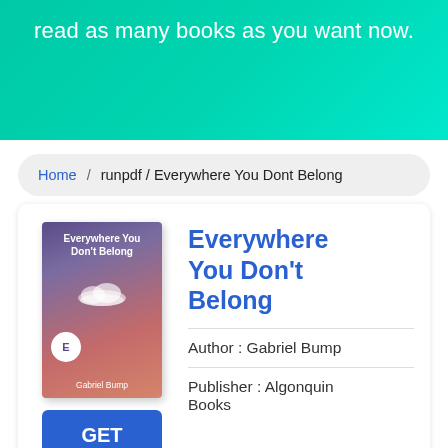read as many books as you want now.
Home / runpdf / Everywhere You Dont Belong
Everywhere You Don't Belong
Author : Gabriel Bump
Publisher : Algonquin Books